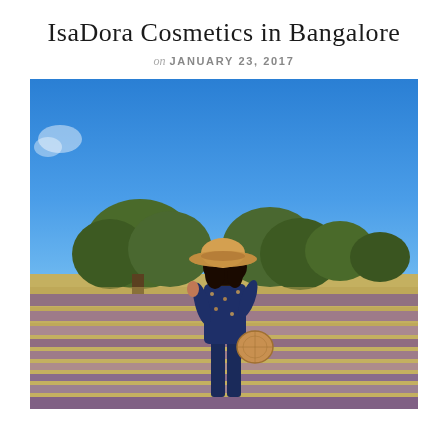IsaDora Cosmetics in Bangalore
on JANUARY 23, 2017
[Figure (photo): A woman in a navy floral jumpsuit and wide-brim hat standing in a lavender field with green trees and a bright blue sky in the background, viewed from behind, holding a woven bag.]